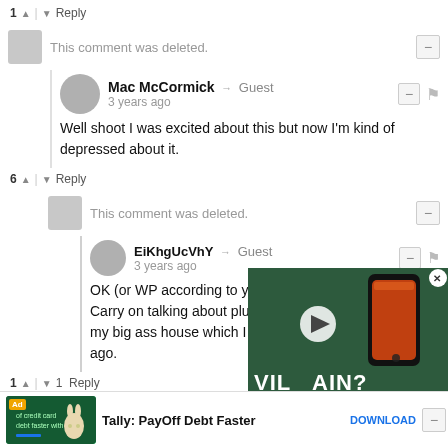1 ▲ | ▼ Reply
This comment was deleted.
Mac McCormick → Guest
3 years ago
Well shoot I was excited about this but now I'm kind of depressed about it.
6 ▲ | ▼ Reply
This comment was deleted.
EiKhgUcVhY → Guest
3 years ago
OK (or WP according to you... Carry on talking about plugs... my big ass house which I g... ago.
1 ▲ | ▼ 1 Reply
Ad | Tally: PayOff Debt Faster | DOWNLOAD